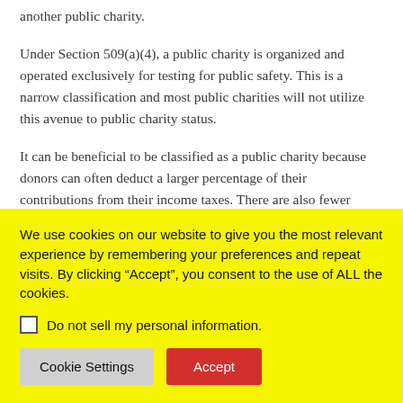another public charity.
Under Section 509(a)(4), a public charity is organized and operated exclusively for testing for public safety.  This is a narrow classification and most public charities will not utilize this avenue to public charity status.
It can be beneficial to be classified as a public charity because donors can often deduct a larger percentage of their contributions from their income taxes. There are also fewer operating restrictions and penalties imposed on
We use cookies on our website to give you the most relevant experience by remembering your preferences and repeat visits. By clicking “Accept”, you consent to the use of ALL the cookies.
Do not sell my personal information.
Cookie Settings
Accept